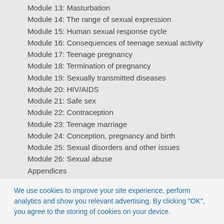Module 13: Masturbation
Module 14: The range of sexual expression
Module 15: Human sexual response cycle
Module 16: Consequences of teenage sexual activity
Module 17: Teenage pregnancy
Module 18: Termination of pregnancy
Module 19: Sexually transmitted diseases
Module 20: HIV/AIDS
Module 21: Safe sex
Module 22: Contraception
Module 23: Teenage marriage
Module 24: Conception, pregnancy and birth
Module 25: Sexual disorders and other issues
Module 26: Sexual abuse
Appendices
A - Common questions
B - Resources
C - Definition of teaching terms
We use cookies to improve your site experience, perform analytics and show you relevant advertising. By clicking "OK", you agree to the storing of cookies on your device.